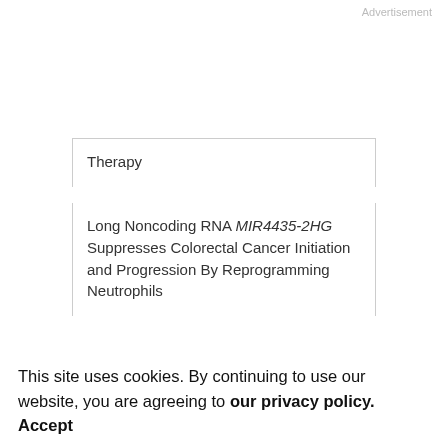Advertisement
Therapy
Long Noncoding RNA MIR4435-2HG Suppresses Colorectal Cancer Initiation and Progression By Reprogramming Neutrophils
Tyrosine Kinase Inhibition Alters Intratumoral CD8+ T-cell Subtype Composition and Activity
This site uses cookies. By continuing to use our website, you are agreeing to our privacy policy. Accept